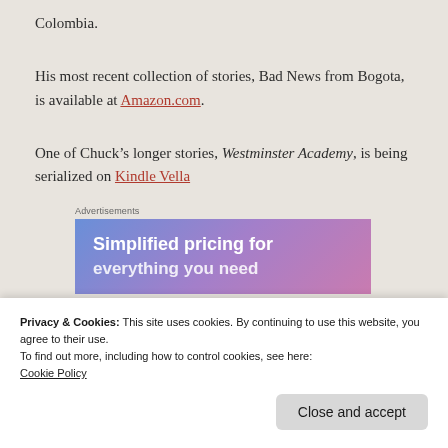Colombia.
His most recent collection of stories, Bad News from Bogota, is available at Amazon.com.
One of Chuck’s longer stories, Westminster Academy, is being serialized on Kindle Vella
Advertisements
[Figure (other): Advertisement banner with blue-purple gradient background and white text reading 'Simplified pricing for']
Privacy & Cookies: This site uses cookies. By continuing to use this website, you agree to their use.
To find out more, including how to control cookies, see here: Cookie Policy
Close and accept